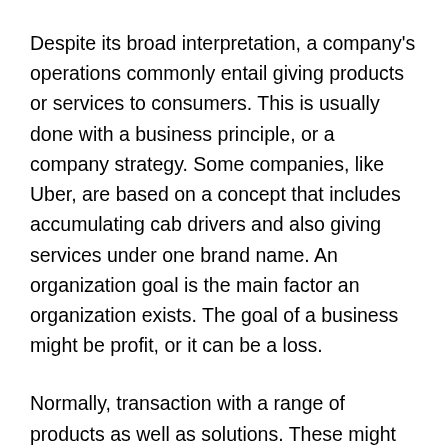Despite its broad interpretation, a company's operations commonly entail giving products or services to consumers. This is usually done with a business principle, or a company strategy. Some companies, like Uber, are based on a concept that includes accumulating cab drivers and also giving services under one brand name. An organization goal is the main factor an organization exists. The goal of a business might be profit, or it can be a loss.
Normally, transaction with a range of products as well as solutions. These might include consumer goods and also resources goods. While consumer goods are for usage, industrial as well as